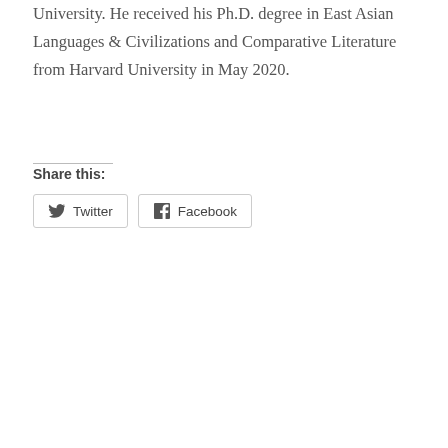University. He received his Ph.D. degree in East Asian Languages & Civilizations and Comparative Literature from Harvard University in May 2020.
Share this:
[Figure (other): Twitter and Facebook share buttons]